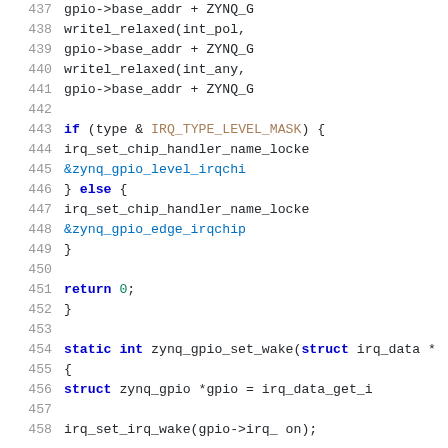Source code listing lines 437-458, C kernel driver code for zynq_gpio_set_type and zynq_gpio_set_wake functions